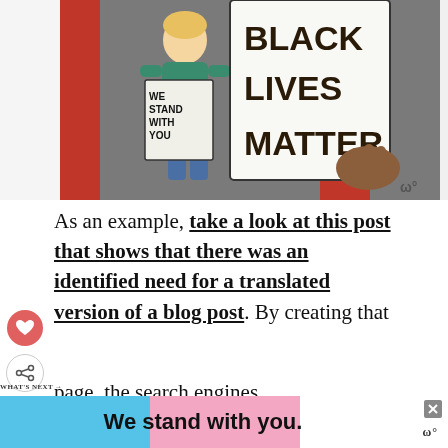[Figure (illustration): Painted illustration showing two figures holding signs. One sign reads 'WE STAND WITH YOU' and another larger sign reads 'BLACK LIVES MATTER'. A brown hand is visible at the right. A small 'w' logo is at bottom right of the image.]
As an example, take a look at this post that shows that there was an identified need for a translated version of a blog post. By creating that page, the search engines continue to drive increased traffic to the p
[Figure (infographic): Bottom banner advertisement showing 'We stand with you.' text on a trans pride flag colored background (blue, pink, white). An X close button is in the upper right corner and a 'w' logo is at lower right.]